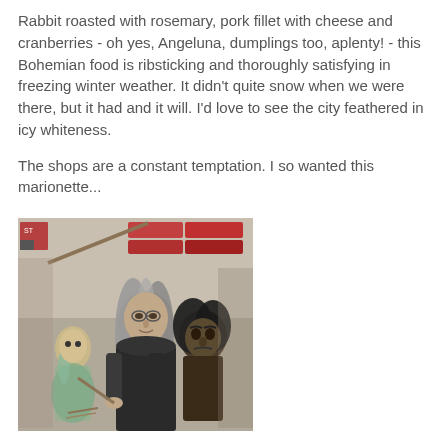Rabbit roasted with rosemary, pork fillet with cheese and cranberries - oh yes, Angeluna, dumplings too, aplenty! - this Bohemian food is ribsticking and thoroughly satisfying in freezing winter weather. It didn't quite snow when we were there, but it had and it will. I'd love to see the city feathered in icy whiteness.
The shops are a constant temptation. I so wanted this marionette...
[Figure (photo): Photo of witch-like marionette puppets in a shop. Two dark, eerie figures with long grey hair, one holding a broom and the other a book, surrounded by shop items in the background.]